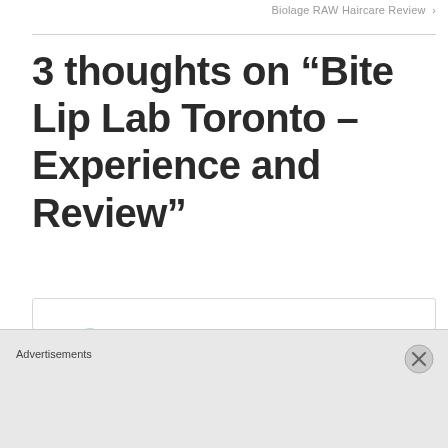Biolage RAW Haircare Review  ›
3 thoughts on “Bite Lip Lab Toronto – Experience and Review”
Lauren Will
March 28, 2018 at 1:13 am
Looks amazingly fun and satisfying to watch!
Advertisements